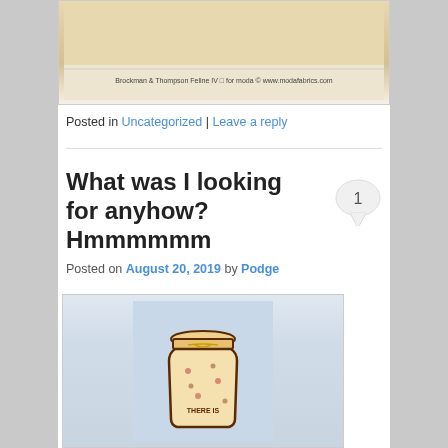[Figure (photo): Photo of a fabric selvage edge showing text 'Brockman & Thompson, Feline IV, for Moda, www.modafabrics.com']
Posted in Uncategorized | Leave a reply
What was I looking for anyhow? Hmmmmmm
[Figure (infographic): Comment bubble showing the number 1]
Posted on August 20, 2019 by Podge
[Figure (photo): Photo of a quilted mason jar with floral fabric reading 'THERE IS ...' on a blue background]